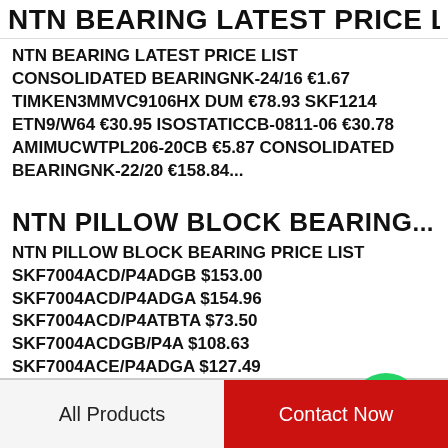NTN BEARING LATEST PRICE LIST
NTN BEARING LATEST PRICE LIST CONSOLIDATED BEARINGNK-24/16 €1.67 TIMKEN3MMVC9106HX DUM €78.93 SKF1214 ETN9/W64 €30.95 ISOSTATICCB-0811-06 €30.78 AMIMUCWTPL206-20CB €5.87 CONSOLIDATED BEARINGNK-22/20 €158.84...
NTN PILLOW BLOCK BEARING...
NTN PILLOW BLOCK BEARING PRICE LIST SKF7004ACD/P4ADGB $153.00 SKF7004ACD/P4ADGA $154.96 SKF7004ACD/P4ATBTA $73.50 SKF7004ACDGB/P4A $108.63 SKF7004ACE/P4ADGA $127.49 SKF7004ACEGA/P4A $125.80...
[Figure (logo): WhatsApp green circle icon with phone handset, labeled WhatsApp Online]
All Products    Contact Now